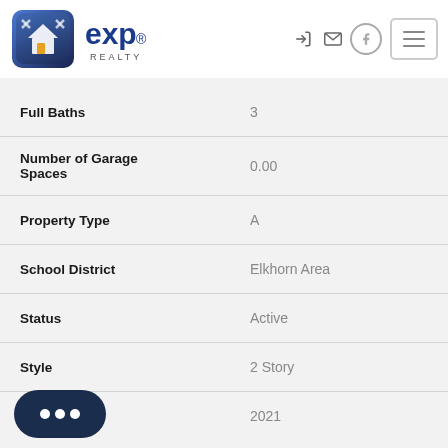eXp Realty logo and navigation
| Field | Value |
| --- | --- |
| Full Baths | 3 |
| Number of Garage Spaces | 0.00 |
| Property Type | A |
| School District | Elkhorn Area |
| Status | Active |
| Style | 2 Story |
|  | 2021 |